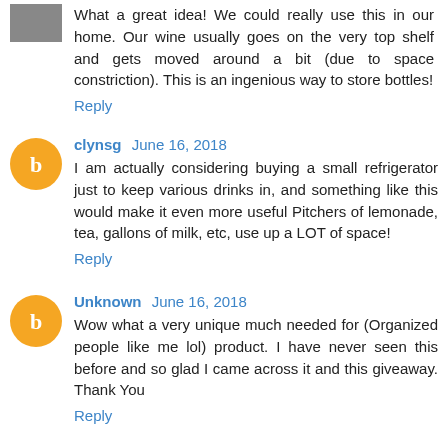What a great idea! We could really use this in our home. Our wine usually goes on the very top shelf and gets moved around a bit (due to space constriction). This is an ingenious way to store bottles!
Reply
clynsg June 16, 2018
I am actually considering buying a small refrigerator just to keep various drinks in, and something like this would make it even more useful Pitchers of lemonade, tea, gallons of milk, etc, use up a LOT of space!
Reply
Unknown June 16, 2018
Wow what a very unique much needed for (Organized people like me lol) product. I have never seen this before and so glad I came across it and this giveaway. Thank You
Reply